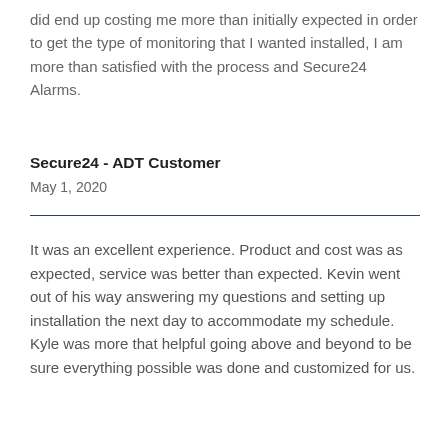did end up costing me more than initially expected in order to get the type of monitoring that I wanted installed, I am more than satisfied with the process and Secure24 Alarms.
Secure24 - ADT Customer
May 1, 2020
It was an excellent experience. Product and cost was as expected, service was better than expected. Kevin went out of his way answering my questions and setting up installation the next day to accommodate my schedule. Kyle was more that helpful going above and beyond to be sure everything possible was done and customized for us.